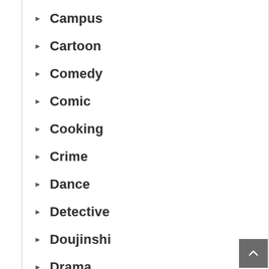Campus
Cartoon
Comedy
Comic
Cooking
Crime
Dance
Detective
Doujinshi
Drama
Ecchi
Fantasy
Free Hentai